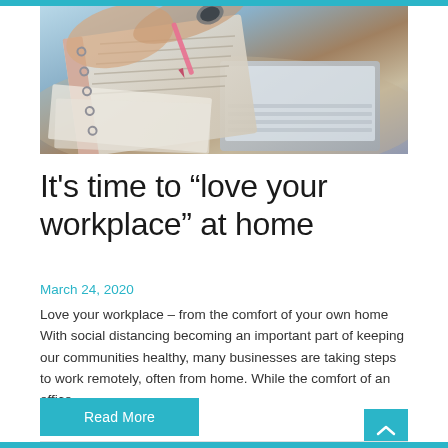[Figure (photo): Overhead view of a person's hands writing in a notebook/planner with a pink pen, next to an open laptop keyboard on a desk, with papers and documents visible.]
It’s time to “love your workplace” at home
March 24, 2020
Love your workplace – from the comfort of your own home With social distancing becoming an important part of keeping our communities healthy, many businesses are taking steps to work remotely, often from home. While the comfort of an office …
Read More